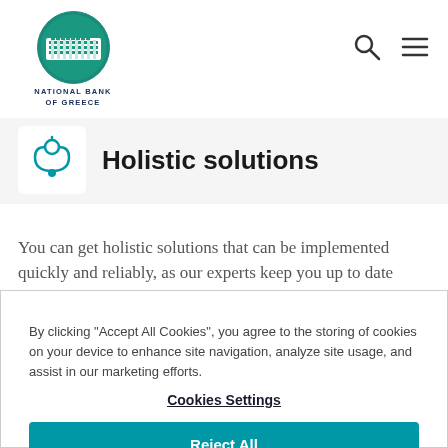NATIONAL BANK OF GREECE
Holistic solutions
You can get holistic solutions that can be implemented quickly and reliably, as our experts keep you up to date
By clicking "Accept All Cookies", you agree to the storing of cookies on your device to enhance site navigation, analyze site usage, and assist in our marketing efforts.
Cookies Settings
Reject All
Accept All Cookies